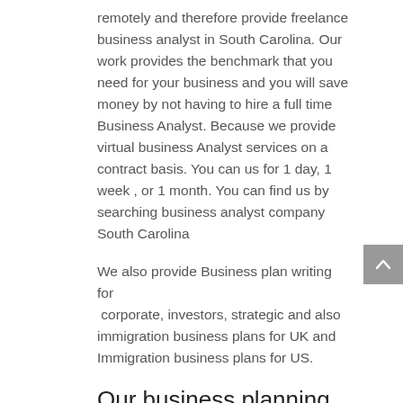remotely and therefore provide freelance business analyst in South Carolina. Our work provides the benchmark that you need for your business and you will save money by not having to hire a full time Business Analyst. Because we provide virtual business Analyst services on a contract basis. You can us for 1 day, 1 week , or 1 month. You can find us by searching business analyst company South Carolina
We also provide Business plan writing  for  corporate, investors, strategic and also  immigration business plans for UK and Immigration business plans for US.
Our business planning service South Carolina include
Project Plans
Feasibility Studies and Plan